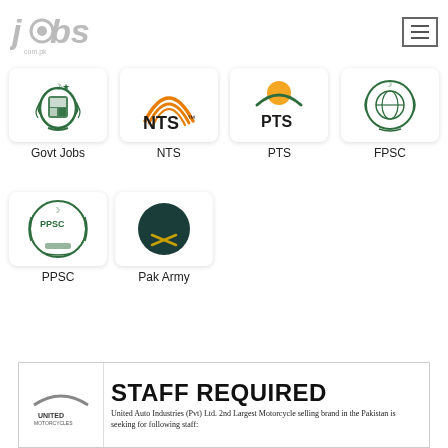jobs.com.pk
[Figure (logo): Govt Jobs logo - Pakistan government emblem]
Govt Jobs
[Figure (logo): NTS logo - National Testing Service with orange arcs]
NTS
[Figure (logo): PTS logo - Pakistan Testing Service with sun arc]
PTS
[Figure (logo): FPSC logo - Federal Public Service Commission emblem]
FPSC
[Figure (logo): PPSC logo - Punjab Public Service Commission emblem]
PPSC
[Figure (logo): Pak Army logo - crescent and swords on dark teal circle]
Pak Army
[Figure (screenshot): United Motorcycles STAFF REQUIRED ad - United Auto Industries (Pvt) Ltd. 2nd Largest Motorcycle selling brand in the Pakistan is seeking for following staff:]